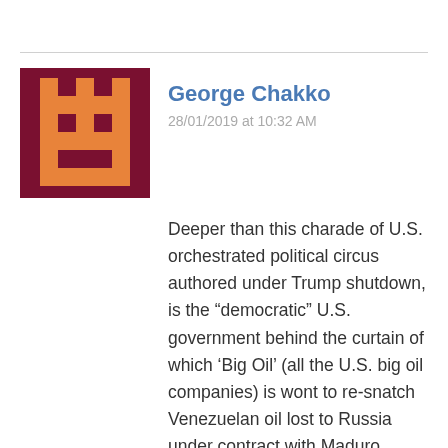[Figure (illustration): Pixel art avatar icon with dark red/maroon background and orange pixelated character/robot face]
George Chakko
28/01/2019 at 10:32 AM
Deeper than this charade of U.S. orchestrated political circus authored under Trump shutdown, is the “democratic” U.S. government behind the curtain of which ‘Big Oil’ (all the U.S. big oil companies) is wont to re-snatch Venezuelan oil lost to Russia under contract with Maduro. Russia outsmarted a U.S. whiling in shutdown and bagged 4 to 5 big Venezuelan oil fields. Big Oil and U.S. Deep State are as good as indistinguishable in this